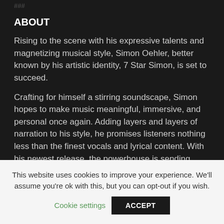###
ABOUT
Rising to the scene with his expressive talents and magnetizing musical style, Simon Oehler, better known by his artistic identity, 7 Star Simon, is set to succeed.
Crafting for himself a stirring soundscape, Simon hopes to make music meaningful, immersive, and personal once again. Adding layers and layers of narration to his style, he promises listeners nothing less than the finest vocals and lyrical content. With his newest release, the powerhouse is sending
This website uses cookies to improve your experience. We'll assume you're ok with this, but you can opt-out if you wish.
Cookie settings  ACCEPT